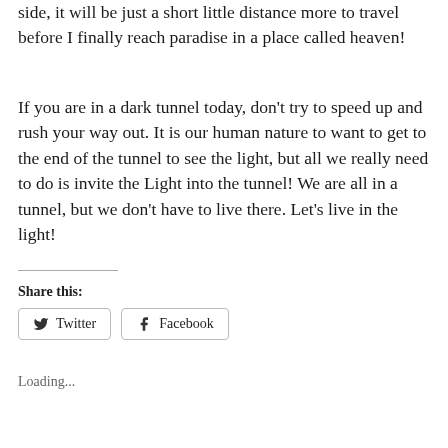side, it will be just a short little distance more to travel before I finally reach paradise in a place called heaven!
If you are in a dark tunnel today, don't try to speed up and rush your way out. It is our human nature to want to get to the end of the tunnel to see the light, but all we really need to do is invite the Light into the tunnel! We are all in a tunnel, but we don't have to live there. Let's live in the light!
Share this:
Twitter
Facebook
Loading...